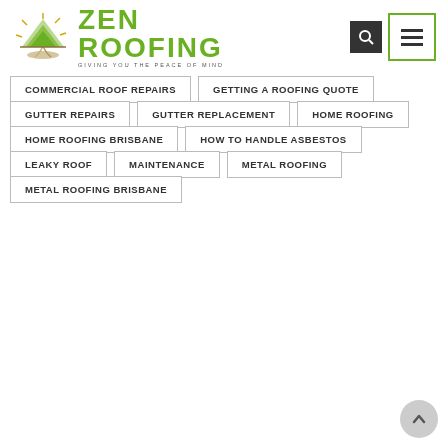[Figure (logo): Zen Roofing logo with tree/sun graphic and text 'ZEN ROOFING GIVING YOU THE PEACE OF MIND']
COMMERCIAL ROOF REPAIRS
GETTING A ROOFING QUOTE
GUTTER REPAIRS
GUTTER REPLACEMENT
HOME ROOFING
HOME ROOFING BRISBANE
HOW TO HANDLE ASBESTOS
LEAKY ROOF
MAINTENANCE
METAL ROOFING
METAL ROOFING BRISBANE